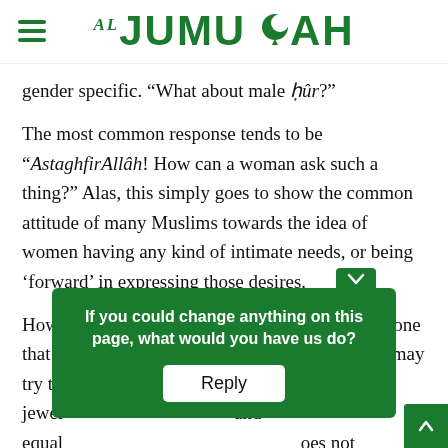Al-Jumuah
gender specific. “What about male ḥûr?”
The most common response tends to be “AstaghfirAllâh! How can a woman ask such a thing?” Alas, this simply goes to show the common attitude of many Muslims towards the idea of women having any kind of intimate needs, or being ‘forward’ in expressing those desires.
However, it is a valid question that remains, and one that many try to avoid answering directly. Some may try to b... n get jewelry... and equally... oes not a... hat
If you could change anything on this page, what would you have us do?
Reply